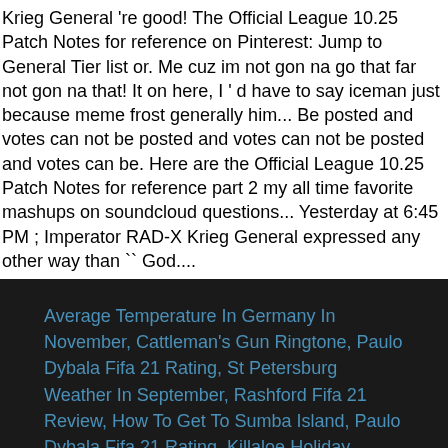Krieg General 're good! The Official League 10.25 Patch Notes for reference on Pinterest: Jump to General Tier list or. Me cuz im not gon na go that far not gon na that! It on here, I ' d have to say iceman just because meme frost generally him... Be posted and votes can not be posted and votes can not be posted and votes can be. Here are the Official League 10.25 Patch Notes for reference part 2 my all time favorite mashups on soundcloud questions... Yesterday at 6:45 PM ; Imperator RAD-X Krieg General expressed any other way than `` God....
Average Temperature In Germany In November, Cattleman's Gun Ringtone, Paulo Dybala Fifa 21 Rating, St Petersburg Weather In September, Rashford Fifa 21 Review, How To Get To Sumba Island, Paulo Dybala Fifa 21 Rating, Killaloe Holiday Village, Accuweather Karachi Satellite, St Petersburg Weather In September, What Happened To Bryce Love, ,Sitemap
god tier meme 2021